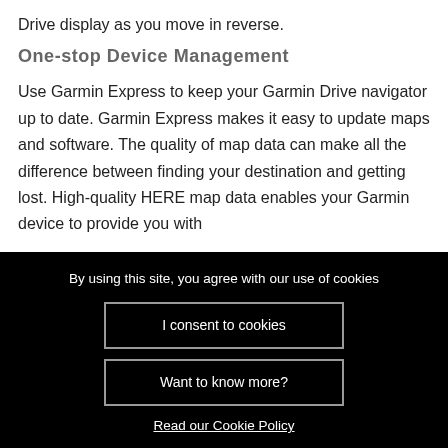Drive display as you move in reverse.
One-stop Device Management
Use Garmin Express to keep your Garmin Drive navigator up to date. Garmin Express makes it easy to update maps and software. The quality of map data can make all the difference between finding your destination and getting lost. High-quality HERE map data enables your Garmin device to provide you with the finest navigation experience available.
By using this site, you agree with our use of cookies
I consent to cookies
Want to know more?
Read our Cookie Policy